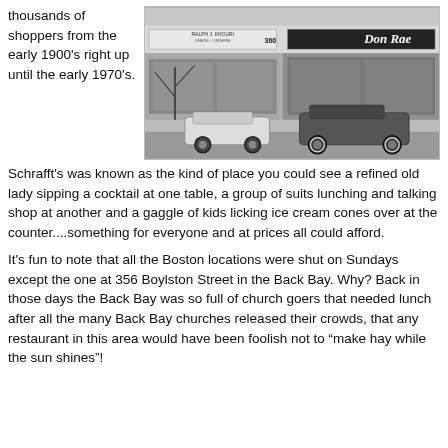thousands of shoppers from the early 1900's right up until the early 1970's.
[Figure (photo): Black and white street photo showing storefronts including Ralph J. Khouri Linens - Lingerie at 360 and Don Rae, with vintage cars parked on the street.]
Schrafft's was known as the kind of place you could see a refined old lady sipping a cocktail at one table, a group of suits lunching and talking shop at another and a gaggle of kids licking ice cream cones over at the counter....something for everyone and at prices all could afford.
It's fun to note that all the Boston locations were shut on Sundays except the one at 356 Boylston Street in the Back Bay. Why? Back in those days the Back Bay was so full of church goers that needed lunch after all the many Back Bay churches released their crowds, that any restaurant in this area would have been foolish not to “make hay while the sun shines”!